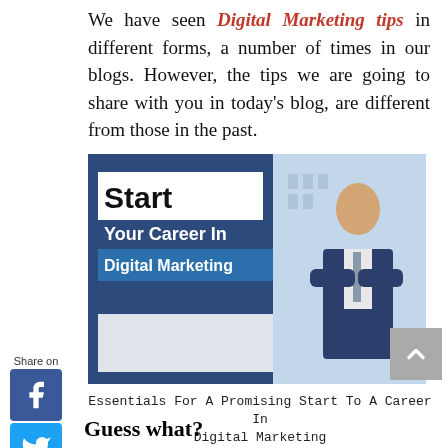We have seen Digital Marketing tips in different forms, a number of times in our blogs. However, the tips we are going to share with you in today's blog, are different from those in the past.
[Figure (illustration): Promotional banner showing 'Start Your Career In Digital Marketing' text over a dark blue background with a businessman in a suit standing with arms crossed in front of a city background.]
Essentials For A Promising Start To A Career In Digital Marketing
Guess what?